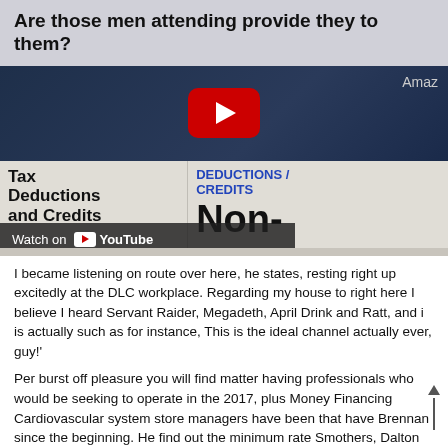Are those men attending provide they to them?
[Figure (screenshot): YouTube video thumbnail showing 'Tax Deductions and Credits' video with red YouTube play button, DEDUCTIONS / CREDITS label, and 'Non-' text visible. A 'Watch on YouTube' bar appears at the bottom left of the video.]
I became listening on route over here, he states, resting right up excitedly at the DLC workplace. Regarding my house to right here I believe I heard Servant Raider, Megadeth, April Drink and Ratt, and i is actually such as for instance, This is the ideal channel actually ever, guy!'
Per burst off pleasure you will find matter having professionals who would be seeking to operate in the 2017, plus Money Financing Cardiovascular system store managers have been that have Brennan since the beginning. He find out the minimum rate Smothers, Dalton and that are on the majority of...